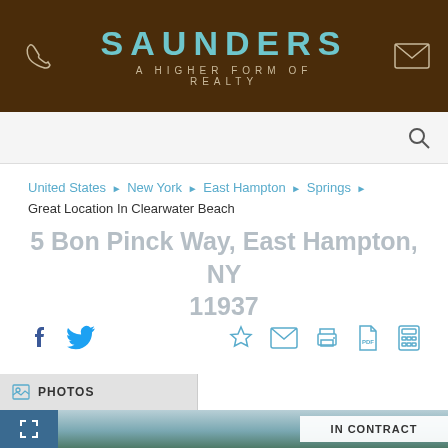SAUNDERS — A HIGHER FORM OF REALTY
United States › New York › East Hampton › Springs › Great Location In Clearwater Beach
5 Bon Pinck Way, East Hampton, NY 11937
[Figure (screenshot): Social sharing icons (Facebook, Twitter) and utility icons (bookmark/star, email, print, PDF, calculator)]
PHOTOS
[Figure (photo): Aerial/waterfront landscape photo showing water and greenery, partially visible. 'IN CONTRACT' badge visible in lower right.]